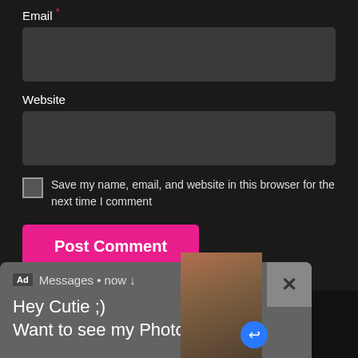Email *
[Figure (screenshot): Email input text field, dark gray background]
Website
[Figure (screenshot): Website input text field, dark gray background]
Save my name, email, and website in this browser for the next time I comment
Post Comment
[Figure (screenshot): Ad notification popup: 'Ad Messages • now ↓ Hey Cutie ;) Want to see my Photos?' with a close X button and an image thumbnail]